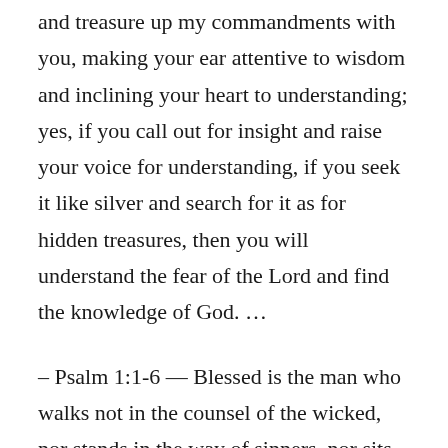and treasure up my commandments with you, making your ear attentive to wisdom and inclining your heart to understanding; yes, if you call out for insight and raise your voice for understanding, if you seek it like silver and search for it as for hidden treasures, then you will understand the fear of the Lord and find the knowledge of God. …
– Psalm 1:1-6 — Blessed is the man who walks not in the counsel of the wicked, nor stands in the way of sinners, nor sits in the seat of scoffers; but his delight is in the law of the Lord, and on his law he meditates day and night. He is like a tree planted by streams of water that yields its fruit in its season, and its leaf does not